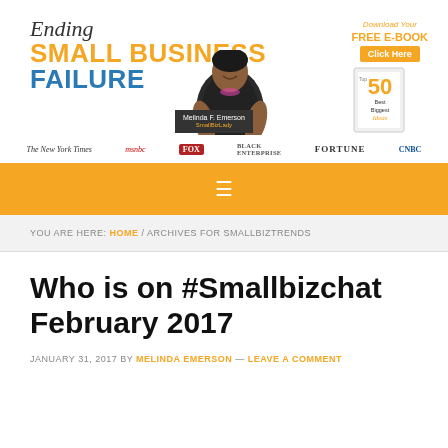[Figure (logo): Ending Small Business Failure website header logo with photo of Melinda F. Emerson and Free E-Book download promotion]
[Figure (logo): Media logos bar: The New York Times, msnbc, FOX, Black Enterprise, FORTUNE, CNBC]
[Figure (other): Navigation bar with hamburger menu icon on golden/amber background]
YOU ARE HERE: HOME / ARCHIVES FOR SMALLBIZTRENDS
Who is on #Smallbizchat February 2017
JANUARY 31, 2017 BY MELINDA EMERSON — LEAVE A COMMENT